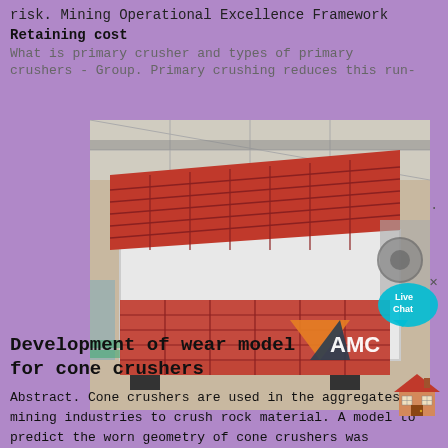risk. Mining Operational Excellence Framework
Retaining cost
What is primary crusher and types of primary
crushers - Group. Primary crushing reduces this run-
[Figure (photo): Industrial vibratory screen/grizzly feeder machine with red grating on top and white steel frame body, photographed in a large manufacturing warehouse. AMC logo visible on the machine.]
hers.
Development of wear model for cone crushers
Abstract. Cone crushers are used in the aggregates and mining industries to crush rock material. A model to predict the worn geometry of cone crushers was